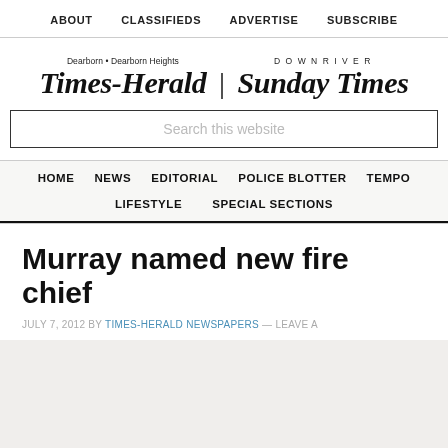ABOUT   CLASSIFIEDS   ADVERTISE   SUBSCRIBE
[Figure (logo): Dearborn • Dearborn Heights Times-Herald | DOWNRIVER Sunday Times newspaper logo in blackletter/gothic font]
Search this website
HOME   NEWS   EDITORIAL   POLICE BLOTTER   TEMPO   LIFESTYLE   SPECIAL SECTIONS
Murray named new fire chief
JULY 7, 2012 BY TIMES-HERALD NEWSPAPERS — LEAVE A